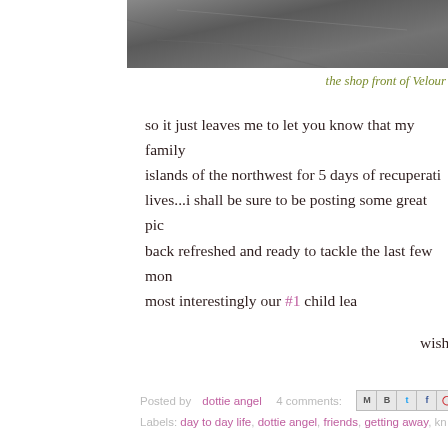[Figure (photo): Partial photo of a stone or slate surface, cropped at top of page]
the shop front of Velour
so it just leaves me to let you know that my family islands of the northwest for 5 days of recuperati lives...i shall be sure to be posting some great pic back refreshed and ready to tackle the last few mon most interestingly our #1 child lea
wishing you sunshine where ever
Posted by dottie angel   4 comments:
Labels: day to day life, dottie angel, friends, getting away, kn
WEDNESDAY, MARCH 28
oh you pretty thing....